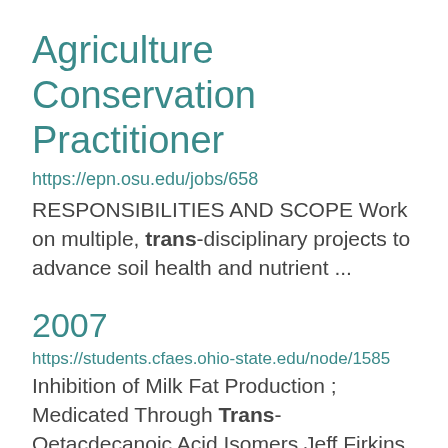Agriculture Conservation Practitioner
https://epn.osu.edu/jobs/658
RESPONSIBILITIES AND SCOPE Work on multiple, trans-disciplinary projects to advance soil health and nutrient ...
2007
https://students.cfaes.ohio-state.edu/node/1585
Inhibition of Milk Fat Production ; Medicated Through Trans- Oetacdecanoic Acid Isomers Jeff Firkins Daniel ... Avian Singing Behavior Amanda Rodewald Lisa Tran Impact of Sulfites on Grape Juices Ken